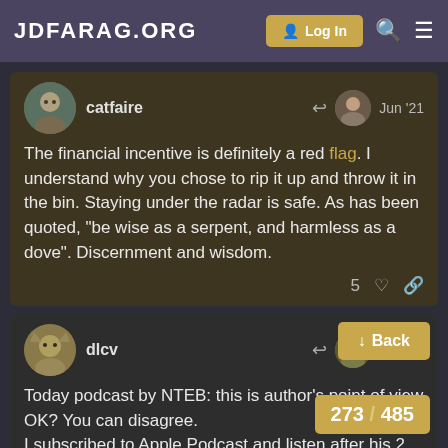JDFARAG.ORG
catfaire — Jun '21
The financial incentive is definitely a red flag. I understand why you chose to rip it up and throw it in the bin. Staying under the radar is safe. As has been quoted, "be wise as a serpent, and harmless as a dove". Discernment and wisdom.
5 ❤
dlcv — Jun '21
Today podcast by NTEB: this is author's point of view OK? You can disagree.
I subscribed to Apple Podcast and listen after his 2 hours teaching...
Back
273 / 485